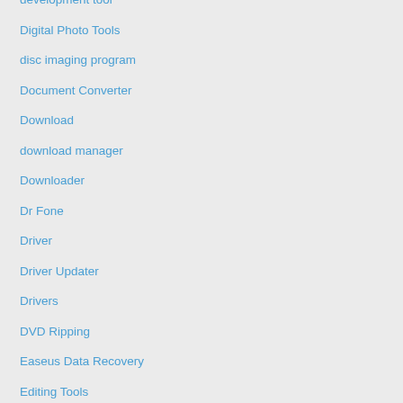development tool
Digital Photo Tools
disc imaging program
Document Converter
Download
download manager
Downloader
Dr Fone
Driver
Driver Updater
Drivers
DVD Ripping
Easeus Data Recovery
Editing Tools
Editor